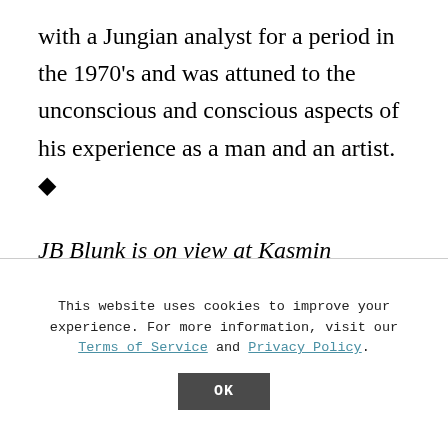with a Jungian analyst for a period in the 1970's and was attuned to the unconscious and conscious aspects of his experience as a man and an artist. ◆
JB Blunk is on view at Kasmin Gallery in New York through November 7, 2020. All images courtesy of JB Blunk Collection.
This website uses cookies to improve your experience. For more information, visit our Terms of Service and Privacy Policy.